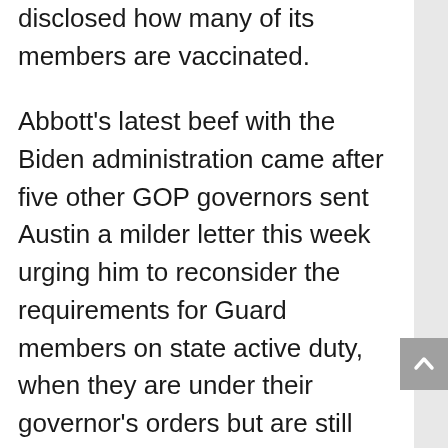disclosed how many of its members are vaccinated.
Abbott's latest beef with the Biden administration came after five other GOP governors sent Austin a milder letter this week urging him to reconsider the requirements for Guard members on state active duty, when they are under their governor's orders but are still funded by the federal government.
Oklahoma's Republican governor has already sued the Defense Department over the vaccine mandate, and Abbott